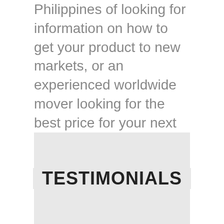Philippines of looking for information on how to get your product to new markets, or an experienced worldwide mover looking for the best price for your next international relocation – you'll find we have the knowledge you need.
So no matter what you have to ship to Philippines, contact one of our shipping team on 01604 926201 for free advice and an instant quotation.
TESTIMONIALS